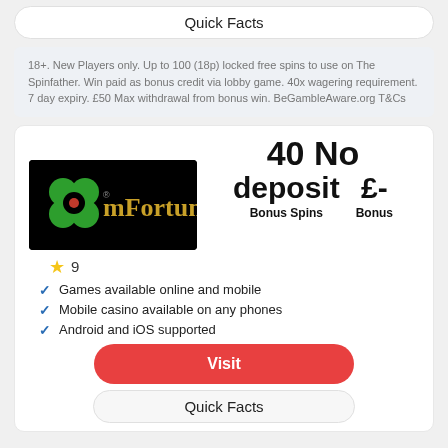Quick Facts
18+. New Players only. Up to 100 (18p) locked free spins to use on The Spinfather. Win paid as bonus credit via lobby game. 40x wagering requirement. 7 day expiry. £50 Max withdrawal from bonus win. BeGambleAware.org T&Cs
[Figure (logo): mFortune casino logo on black background with green clover symbols]
40 No deposit £- Bonus Spins Bonus
9
Games available online and mobile
Mobile casino available on any phones
Android and iOS supported
Visit
Quick Facts